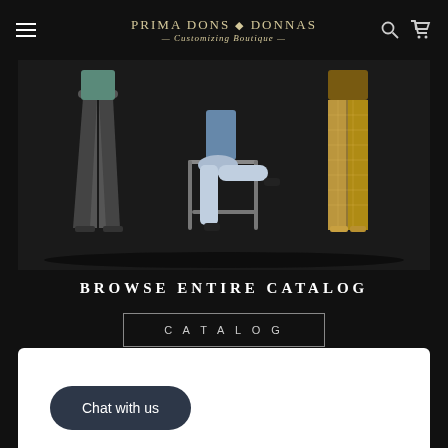Prima Dons Donnas — Customizing Boutique
[Figure (photo): Three fashion models showing pants/leggings: left model in dark flared pants, center model seated on a chair in silver metallic pants, right model in gold/nude mesh wide-leg pants. Dark studio background.]
BROWSE ENTIRE CATALOG
CATALOG
Chat with us